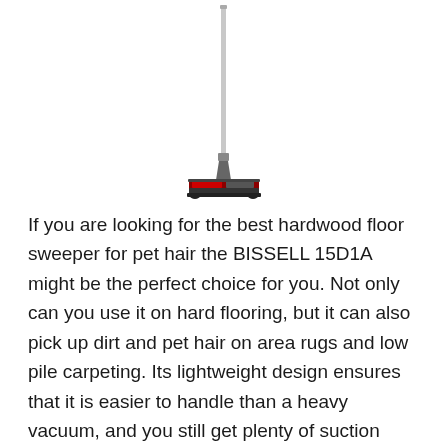[Figure (photo): A BISSELL 15D1A cordless floor sweeper shown in full upright position with a long silver handle extending vertically and a dark red/black sweeper head base at the bottom.]
If you are looking for the best hardwood floor sweeper for pet hair the BISSELL 15D1A might be the perfect choice for you. Not only can you use it on hard flooring, but it can also pick up dirt and pet hair on area rugs and low pile carpeting. Its lightweight design ensures that it is easier to handle than a heavy vacuum, and you still get plenty of suction power to efficiently sweep up small messes. This cordless sweeper will keep your floors free